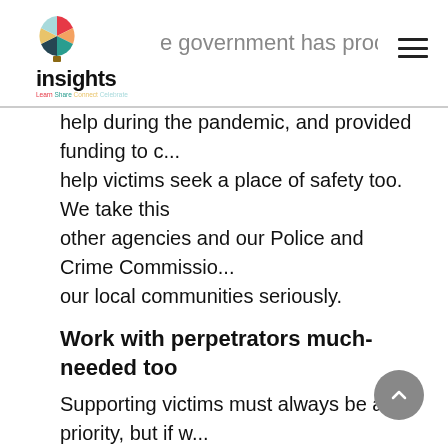insights — Learn Share Connect Celebrate — government has produced guidance su...
help during the pandemic, and provided funding to c... help victims seek a place of safety too. We take this other agencies and our Police and Crime Commissi... our local communities seriously.
Work with perpetrators much-needed too
Supporting victims must always be a priority, but if w... place, we must also work with those who cause harm...
Research by Safer Lives found that a quarter of perp... harm are repeat offenders – in some cases having a... than one percent receive a specialist intervention to...
Our domestic abuse and stalking programmes give... understanding and strategies to avoid turning to...